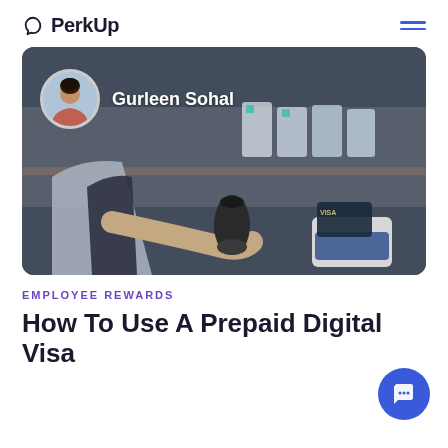PerkUp
[Figure (photo): Hero image showing a woman in a gray cardigan holding a product bottle at a pharmacy/store counter, with another person holding a Visa card at a payment terminal. Author overlay shows a circular profile photo of Gurleen Sohal with the name 'Gurleen Sohal' in white text.]
EMPLOYEE REWARDS
How To Use A Prepaid Digital Visa